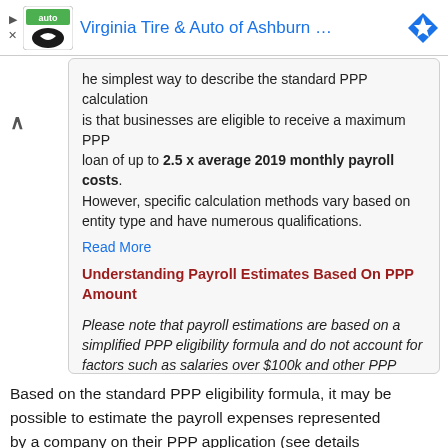[Figure (logo): Virginia Tire & Auto of Ashburn advertisement bar with logo and navigation arrows]
he simplest way to describe the standard PPP calculation is that businesses are eligible to receive a maximum PPP loan of up to 2.5 x average 2019 monthly payroll costs. However, specific calculation methods vary based on entity type and have numerous qualifications.
Read More
Understanding Payroll Estimates Based On PPP Amount
Please note that payroll estimations are based on a simplified PPP eligibility formula and do not account for factors such as salaries over $100k and other PPP eligibility components.
Read More
Based on the standard PPP eligibility formula, it may be possible to estimate the payroll expenses represented by a company on their PPP application (see details above). In order to qualify for the PPP loan amount